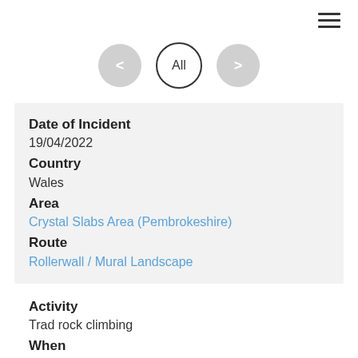≡
[Figure (other): Navigation controls: left arrow button, All button, right arrow button]
Date of Incident
19/04/2022
Country
Wales
Area
Crystal Slabs Area (Pembrokeshire)
Route
Rollerwall / Mural Landscape
Activity
Trad rock climbing
When
Descending
Injury